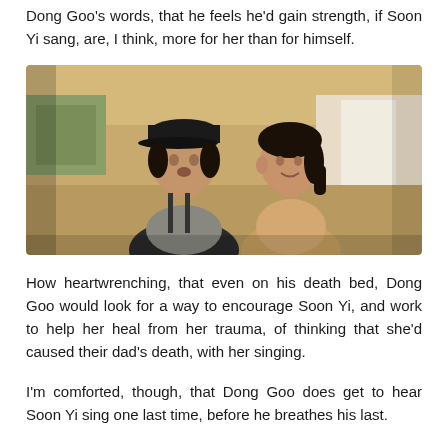Dong Goo's words, that he feels he'd gain strength, if Soon Yi sang, are, I think, more for her than for himself.
[Figure (photo): A still from a film or drama showing two young Asian children — a boy wearing a dark cap and jacket, and a girl with dark hair pulled back, both facing slightly to one side, in an indoor setting with warm background lighting.]
How heartwrenching, that even on his death bed, Dong Goo would look for a way to encourage Soon Yi, and work to help her heal from her trauma, of thinking that she'd caused their dad's death, with her singing.
I'm comforted, though, that Dong Goo does get to hear Soon Yi sing one last time, before he breathes his last.
I'm also glad, that we get to see the war end, so that our